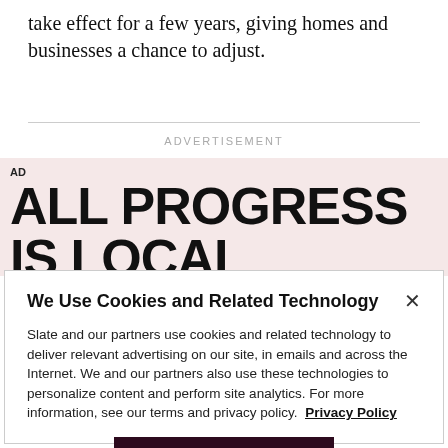take effect for a few years, giving homes and businesses a chance to adjust.
ADVERTISEMENT
[Figure (screenshot): Advertisement banner with pink/rose background showing bold text 'ALL PROGRESS IS LOCAL' with 'AD' label in top left corner]
We Use Cookies and Related Technology
Slate and our partners use cookies and related technology to deliver relevant advertising on our site, in emails and across the Internet. We and our partners also use these technologies to personalize content and perform site analytics. For more information, see our terms and privacy policy. Privacy Policy
OK